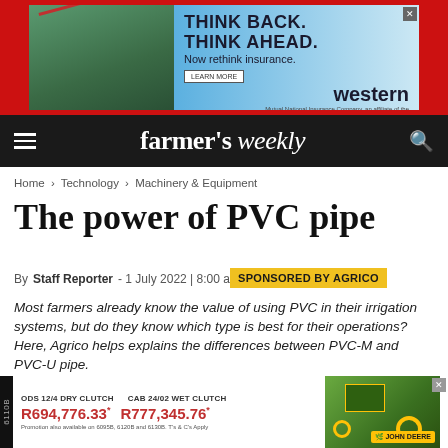[Figure (photo): Advertisement banner: Think Back. Think Ahead. Now rethink insurance. Western Insurance. Background shows irrigation system over agricultural field.]
farmer's weekly
Home › Technology › Machinery & Equipment
The power of PVC pipe
By Staff Reporter - 1 July 2022 | 8:00 am
SPONSORED BY AGRICO
Most farmers already know the value of using PVC in their irrigation systems, but do they know which type is best for their operations? Here, Agrico helps explains the differences between PVC-M and PVC-U pipe.
[Figure (photo): Advertisement for John Deere 6110B tractor. ODS 12/4 Dry Clutch: R694,776.33*. CAB 24/02 Wet Clutch: R777,345.76*. Promotion also available on 6095B, 6120B and 6130B. T's & C's Apply.]